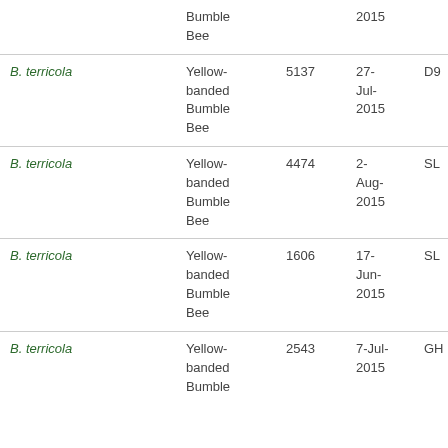| Species | Common Name | ID | Date | Code |
| --- | --- | --- | --- | --- |
| B. terricola | Yellow-banded Bumble Bee |  | 2015 |  |
| B. terricola | Yellow-banded Bumble Bee | 5137 | 27-Jul-2015 | D9 |
| B. terricola | Yellow-banded Bumble Bee | 4474 | 2-Aug-2015 | SL |
| B. terricola | Yellow-banded Bumble Bee | 1606 | 17-Jun-2015 | SL |
| B. terricola | Yellow-banded Bumble Bee | 2543 | 7-Jul-2015 | GH |